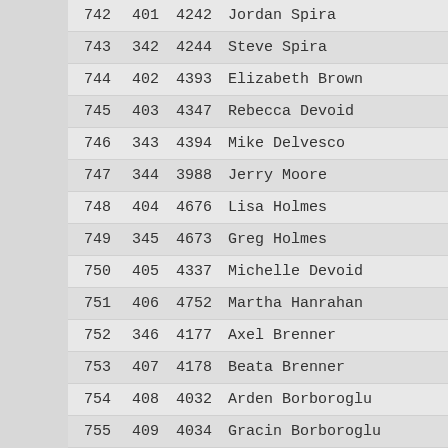| #1 | #2 | ID | Name | Code |
| --- | --- | --- | --- | --- |
| 742 | 401 | 4242 | Jordan Spira | F |
| 743 | 342 | 4244 | Steve Spira | M |
| 744 | 402 | 4393 | Elizabeth Brown | F |
| 745 | 403 | 4347 | Rebecca Devoid | F |
| 746 | 343 | 4394 | Mike Delvesco | M |
| 747 | 344 | 3988 | Jerry Moore | M |
| 748 | 404 | 4676 | Lisa Holmes | F |
| 749 | 345 | 4673 | Greg Holmes | M |
| 750 | 405 | 4337 | Michelle Devoid | F |
| 751 | 406 | 4752 | Martha Hanrahan | F |
| 752 | 346 | 4177 | Axel Brenner | M |
| 753 | 407 | 4178 | Beata Brenner | F |
| 754 | 408 | 4032 | Arden Borboroglu | F |
| 755 | 409 | 4034 | Gracin Borboroglu | F |
| 756 | 410 | 4432 | Laurie Rivers | F |
| 757 | 411 | 4062 | Maria Rivera | F |